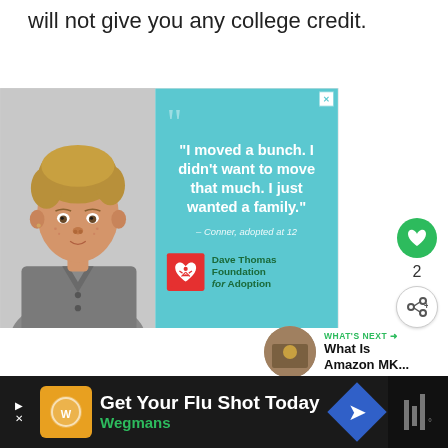will not give you any college credit.
[Figure (photo): Advertisement for Dave Thomas Foundation for Adoption featuring a boy with a quote: 'I moved a bunch. I didn't want to move that much. I just wanted a family.' — Conner, adopted at 12]
[Figure (infographic): What's Next panel with thumbnail and text: 'What Is Amazon MK...']
[Figure (infographic): Bottom advertisement bar: 'Get Your Flu Shot Today Wegmans' with Wegmans logo and navigation arrow]